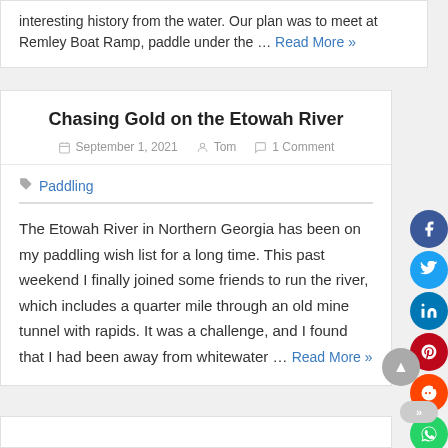interesting history from the water. Our plan was to meet at Remley Boat Ramp, paddle under the … Read More »
Chasing Gold on the Etowah River
September 1, 2021  Tom  1 Comment
Paddling
The Etowah River in Northern Georgia has been on my paddling wish list for a long time. This past weekend I finally joined some friends to run the river, which includes a quarter mile through an old mine tunnel with rapids. It was a challenge, and I found that I had been away from whitewater … Read More »